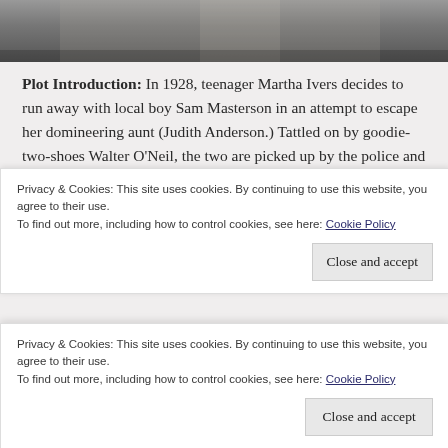[Figure (photo): Black and white photograph showing partial view of a person, cropped at top of page]
Plot Introduction: In 1928, teenager Martha Ivers decides to run away with local boy Sam Masterson in an attempt to escape her domineering aunt (Judith Anderson.) Tattled on by goodie-two-shoes Walter O'Neil, the two are picked up by the police and returned to the Ivers mansion where Martha gets into a heated argument with her aunt. During the confrontation, Martha accidentally pushes her aunt down a stairwell, killing her. Walter's father covers up the incident; Sam leaves town on a train.
Privacy & Cookies: This site uses cookies. By continuing to use this website, you agree to their use.
To find out more, including how to control cookies, see here: Cookie Policy